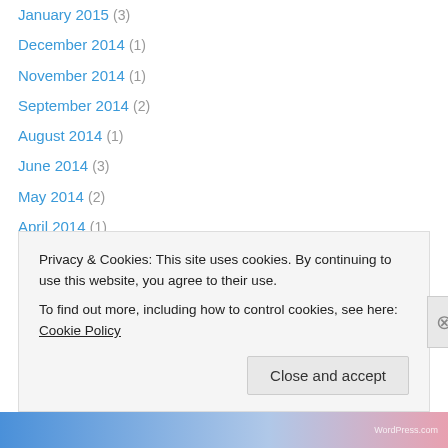January 2015 (3)
December 2014 (1)
November 2014 (1)
September 2014 (2)
August 2014 (1)
June 2014 (3)
May 2014 (2)
April 2014 (1)
March 2014 (2)
February 2014 (1)
January 2014 (1)
December 2013 (1)
November 2013 (1)
October 2013 (2)
Privacy & Cookies: This site uses cookies. By continuing to use this website, you agree to their use.
To find out more, including how to control cookies, see here: Cookie Policy